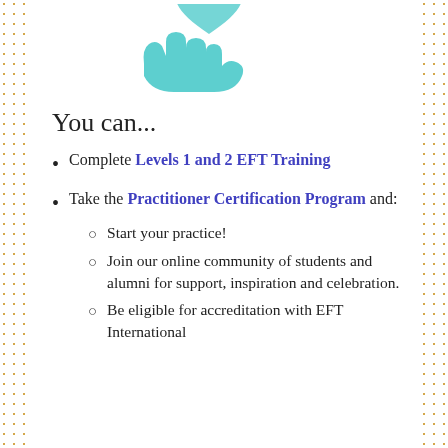[Figure (illustration): Teal/turquoise hand with a heart above it, representing giving or support (partially visible at top of page)]
You can...
Complete Levels 1 and 2 EFT Training
Take the Practitioner Certification Program and:
Start your practice!
Join our online community of students and alumni for support, inspiration and celebration.
Be eligible for accreditation with EFT International